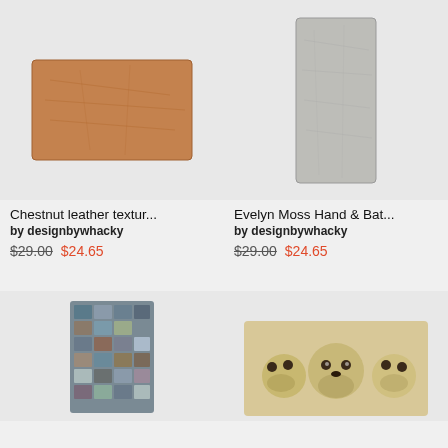[Figure (photo): Copper/chestnut leather texture bath mat on grey background]
Chestnut leather textur...
by designbywhacky
$29.00  $24.65
[Figure (photo): Evelyn Moss grey hand & bath towel on grey background]
Evelyn Moss Hand & Bat...
by designbywhacky
$29.00  $24.65
[Figure (photo): Mosaic patterned rug on grey background]
[Figure (photo): Dogs (golden retrievers) bath mat on grey background]